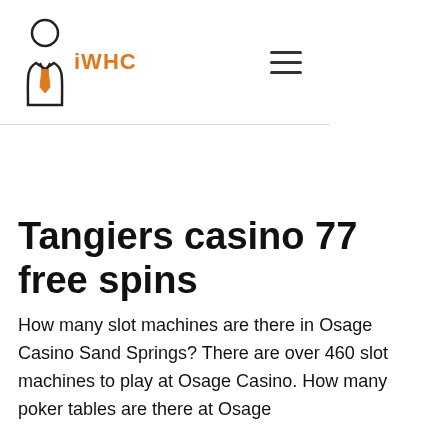[Figure (logo): iWHC logo with a person icon wearing a tie and the text 'iWHC' in orange, plus a hamburger menu icon on the right]
Tangiers casino 77 free spins
How many slot machines are there in Osage Casino Sand Springs? There are over 460 slot machines to play at Osage Casino. How many poker tables are there at Osage